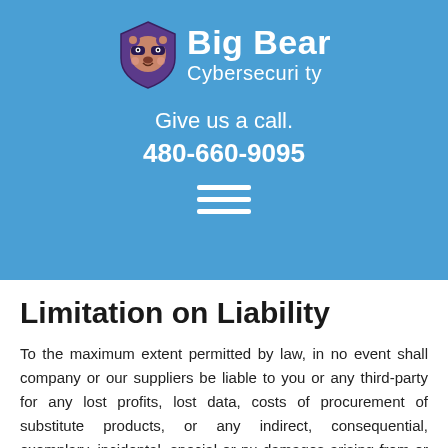[Figure (logo): Big Bear Cybersecurity logo with a bear icon and company name and subtitle]
Give us a call.
480-660-9095
[Figure (other): Hamburger menu icon with three horizontal white lines]
Limitation on Liability
To the maximum extent permitted by law, in no event shall company or our suppliers be liable to you or any third-party for any lost profits, lost data, costs of procurement of substitute products, or any indirect, consequential, exemplary, incidental, special or pu damages arising from or relating to these terms o use of, or incapability to use the site even if company